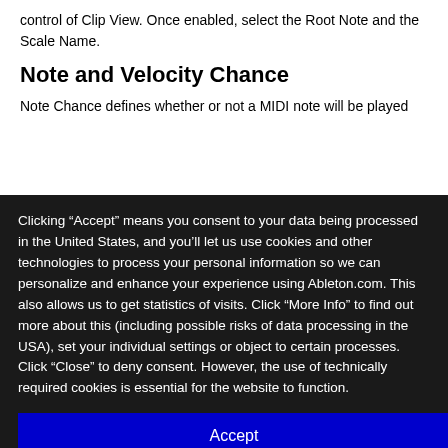control of Clip View. Once enabled, select the Root Note and the Scale Name.
Note and Velocity Chance
Note Chance defines whether or not a MIDI note will be played
Clicking “Accept” means you consent to your data being processed in the United States, and you’ll let us use cookies and other technologies to process your personal information so we can personalize and enhance your experience using Ableton.com. This also allows us to get statistics of visits. Click “More Info” to find out more about this (including possible risks of data processing in the USA), set your individual settings or object to certain processes. Click “Close” to deny consent. However, the use of technically required cookies is essential for the website to function.
Accept
Close
More info